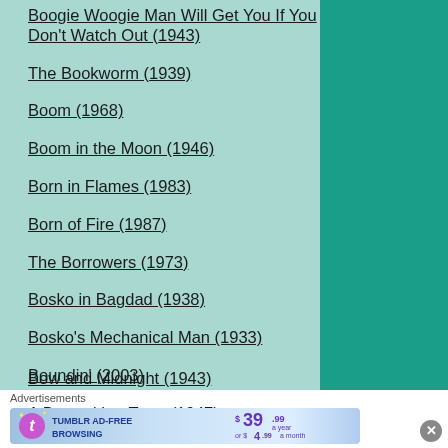Boogie Woogie Man Will Get You If You Don't Watch Out (1943)
The Bookworm (1939)
Boom (1968)
Boom in the Moon (1946)
Born in Flames (1983)
Born of Fire (1987)
The Borrowers (1973)
Bosko in Bagdad (1938)
Bosko's Mechanical Man (1933)
Boundin' (2003)
A Bout with a Trout (1947)
Bow and Midnight (1943)
Advertisements
[Figure (screenshot): Tumblr ad-free browsing advertisement banner: $39.99 a year or $4.99 a month]